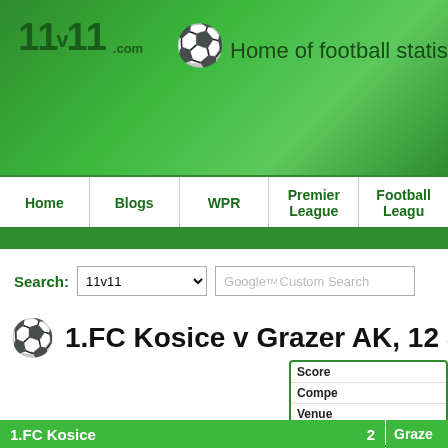11v11.com — Home of football statistics ar...
Home | Blogs | WPR | Premier League | Football League
Search: 11v11 | Google Custom Search
1.FC Kosice v Grazer AK, 12 Septe...
| Field | Value |
| --- | --- |
| Score |  |
| Competition |  |
| Venue |  |
| Attendance |  |
1.FC Kosice  2
Grazer...
Goals:
Goals: